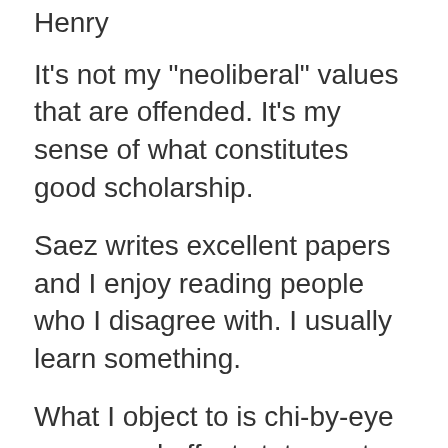Henry
It's not my "neoliberal" values that are offended. It's my sense of what constitutes good scholarship.
Saez writes excellent papers and I enjoy reading people who I disagree with. I usually learn something.
What I object to is chi-by-eye cause and effect statements - especially when made by respected economists who are trying to educate the public.
Posted by: Avon Barksdale | November 13, 2016 at 04:36 PM